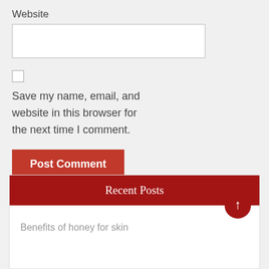Website
Save my name, email, and website in this browser for the next time I comment.
Post Comment
Recent Posts
Benefits of honey for skin